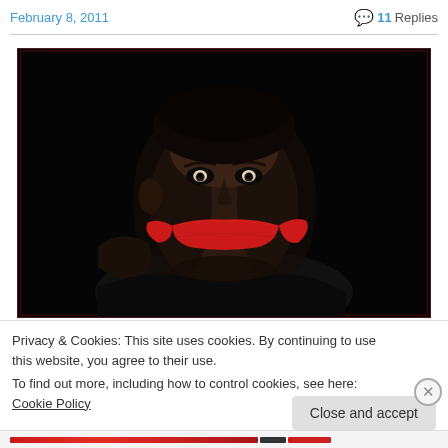February 8, 2011   💬 11 Replies
[Figure (photo): A dark dramatic portrait of a young man with red tape over his mouth, representing censorship or silencing, against a black background.]
Privacy & Cookies: This site uses cookies. By continuing to use this website, you agree to their use.
To find out more, including how to control cookies, see here: Cookie Policy
Close and accept